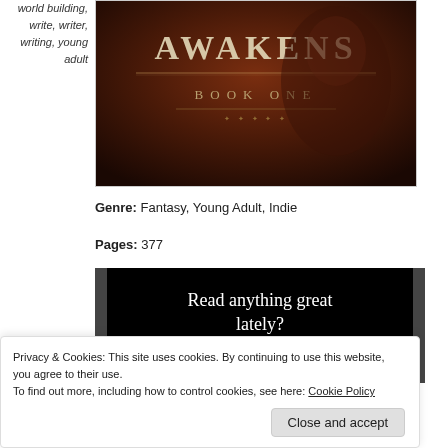world building, write, writer, writing, young adult
[Figure (illustration): Book cover showing 'AWAKENS BOOK ONE' with decorative fantasy styling on a dark red/brown background]
Genre: Fantasy, Young Adult, Indie
Pages: 377
[Figure (screenshot): Advertisement banner with black background reading 'Read anything great lately?' with a red 'Start reading' button]
Privacy & Cookies: This site uses cookies. By continuing to use this website, you agree to their use. To find out more, including how to control cookies, see here: Cookie Policy
Close and accept